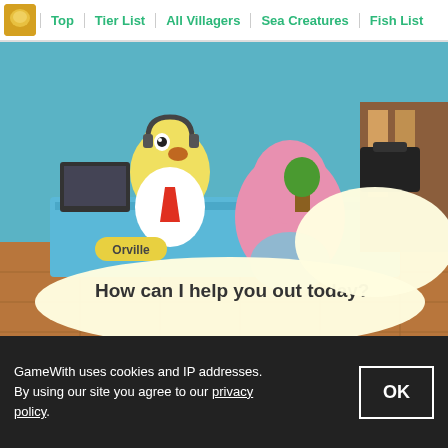Top | Tier List | All Villagers | Sea Creatures | Fish List
[Figure (screenshot): Animal Crossing New Horizons screenshot showing character at airport desk with Orville the duck behind counter. Dialog bubble from Orville says 'How can I help you out today?' and response options include 'I wanna fly!', 'I want visitors.', 'I'm good, thanks.']
Each island has different pricing for Turnips. If you have a friend whose turnip sale price is high, visit to profit!
[Figure (other): TIPS badge - red and black banner with white text saying TIPS]
GameWith uses cookies and IP addresses. By using our site you agree to our privacy policy.